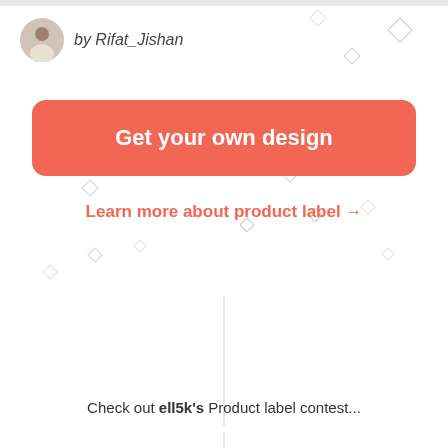by Rifat_Jishan
Get your own design
Learn more about product label →
Check out ell5k's Product label contest...